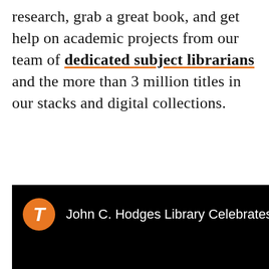research, grab a great book, and get help on academic projects from our team of dedicated subject librarians and the more than 3 million titles in our stacks and digital collections.
[Figure (screenshot): Embedded video player with black background showing University of Tennessee orange T logo and partial title: John C. Hodges Library Celebrates 30 Years a]